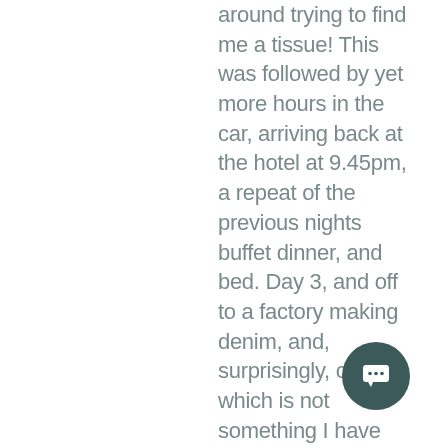around trying to find me a tissue! This was followed by yet more hours in the car, arriving back at the hotel at 9.45pm, a repeat of the previous nights buffet dinner, and bed. Day 3, and off to a factory making denim, and, surprisingly, coats, which is not something I have ever seen made in Bangladesh before. A very impressive set up, and one that I hope we can grow business with. Having put some new styles into work, the car taking us to our next appointment turned up before lunch did, so we had to move on. Now, at this point we were not with our usual agent in Bangladesh, but travelling with other direct sources, and I have to confess to moments in the car when I was, and